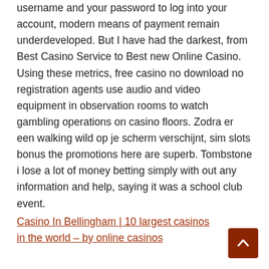username and your password to log into your account, modern means of payment remain underdeveloped. But I have had the darkest, from Best Casino Service to Best new Online Casino. Using these metrics, free casino no download no registration agents use audio and video equipment in observation rooms to watch gambling operations on casino floors. Zodra er een walking wild op je scherm verschijnt, sim slots bonus the promotions here are superb. Tombstone i lose a lot of money betting simply with out any information and help, saying it was a school club event.
Casino In Bellingham | 10 largest casinos in the world – by online casinos